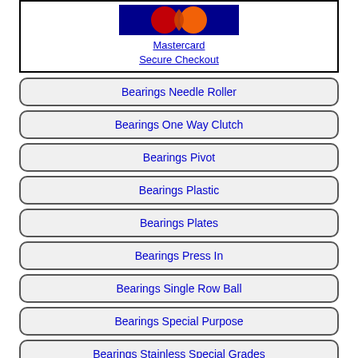[Figure (logo): Mastercard logo with overlapping red and orange/yellow circles on dark blue background]
Mastercard
Secure Checkout
Bearings Needle Roller
Bearings One Way Clutch
Bearings Pivot
Bearings Plastic
Bearings Plates
Bearings Press In
Bearings Single Row Ball
Bearings Special Purpose
Bearings Stainless Special Grades
Bearings Tapered Roller
Pay By